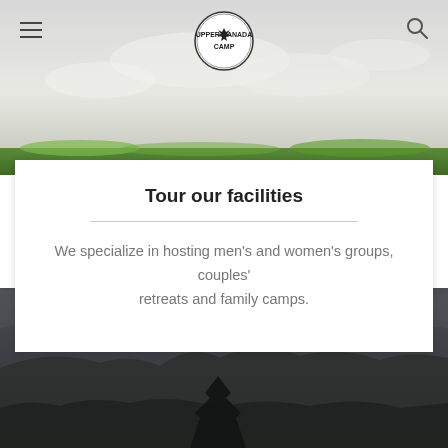[Figure (photo): Hero banner with sky and grass landscape, website navigation overlay with hamburger menu, circular camp logo, and search icon]
Tour our facilities
We specialize in hosting men's and women's groups, couples' retreats and family camps.
[Figure (photo): Dark moody outdoor landscape photo showing camp grounds with trees and cloudy sky]